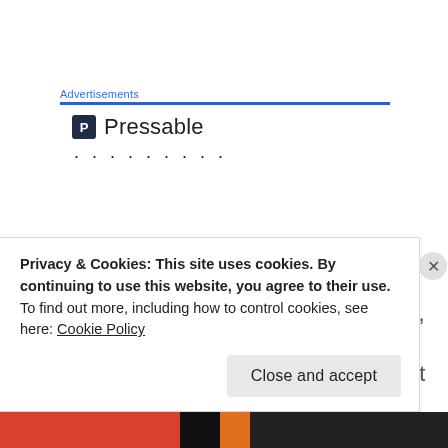Advertisements
[Figure (logo): Pressable logo with P icon and dotted tagline]
It has been helpful to have this focus on Mum’s funeral and to forget everything else that will need to be done eventually, but we are in no rush to deal with the house or Mum’s finances. I do worry that we will both fall off a
Privacy & Cookies: This site uses cookies. By continuing to use this website, you agree to their use.
To find out more, including how to control cookies, see here: Cookie Policy
Close and accept